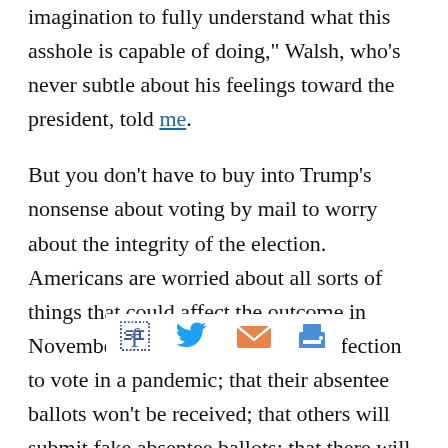imagination to fully understand what this asshole is capable of doing," Walsh, who's never subtle about his feelings toward the president, told me.
But you don't have to buy into Trump's nonsense about voting by mail to worry about the integrity of the election. Americans are worried about all sorts of things that could affect the outcome in November: that they'll be risking infection to vote in a pandemic; that their absentee ballots won't be received; that others will submit fake absentee ballots; that there will be funny business in the counting process. Officials say there will be insufficient resources to pay for the staff and infrastructure needed to secure and tally the ballots.
And that's just voting by mail. People are also worried that polling places might not be adequately staffed in urban areas; that some voters will wait in line for hours, six feet apart, to vote; that bad actors could advertise the wrong date for the election or stand, coughing